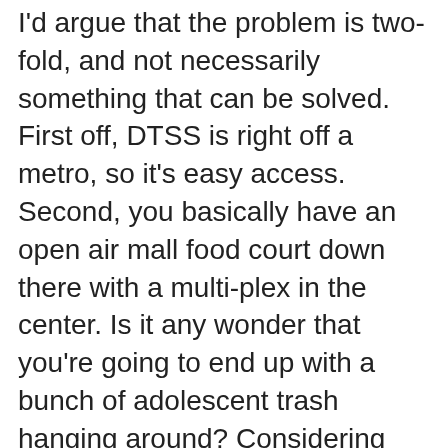I'd argue that the problem is two-fold, and not necessarily something that can be solved. First off, DTSS is right off a metro, so it's easy access. Second, you basically have an open air mall food court down there with a multi-plex in the center. Is it any wonder that you're going to end up with a bunch of adolescent trash hanging around? Considering that the restaurants are all fast-food or cheap chain joints, is it any wonder you're going to end up with a bunch of lower-income denizens frequenting the area? The place is custom-made to attract low-income teenagers to hang out and treat it as their turf. Sure, rich kids can suck and not all poor kids are trash, but ask any cop or high school teacher and they'll tell you violent behavior in teens is more prevalent from poor homes. That area of DTSS is particularly bad. Ironically you get less trash near McGinty's precisely because it's a bar with a mostly over-21 crowd who (in general) doesn't feel the need to act like teenage hood trash. Sadly, I agree with the original post...at some point the place is going